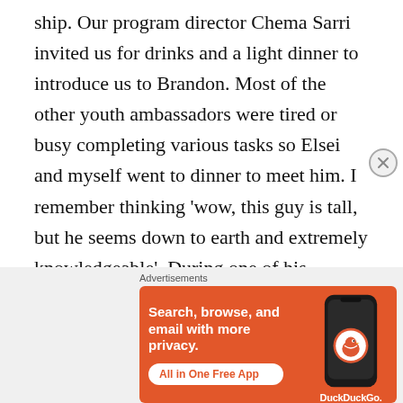ship. Our program director Chema Sarri invited us for drinks and a light dinner to introduce us to Brandon. Most of the other youth ambassadors were tired or busy completing various tasks so Elsei and myself went to dinner to meet him. I remember thinking 'wow, this guy is tall, but he seems down to earth and extremely knowledgeable'. During one of his sessions with the youth ambassadors, he briefly mentioned the Our Ocean Youth Leadership Summit (OOYLS) but, I completely dismissed it. One day while sitting by
[Figure (other): DuckDuckGo advertisement banner: orange background with text 'Search, browse, and email with more privacy. All in One Free App' and an image of a smartphone with the DuckDuckGo logo and name]